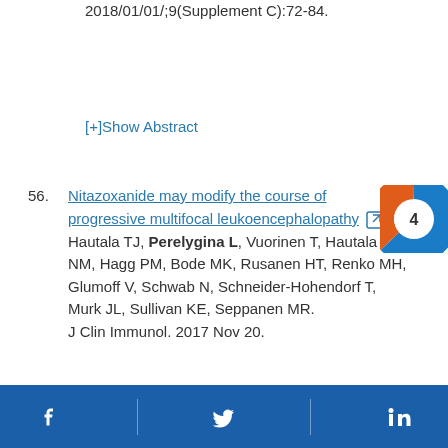2018/01/01/;9(Supplement C):72-84.
[+]Show Abstract
56. Nitazoxanide may modify the course of progressive multifocal leukoencephalopathy [external link] Hautala TJ, Perelygina L, Vuorinen T, Hautala NM, Hagg PM, Bode MK, Rusanen HT, Renko MH, Glumoff V, Schwab N, Schneider-Hohendorf T, Murk JL, Sullivan KE, Seppanen MR. J Clin Immunol. 2017 Nov 20.
Facebook | Twitter | LinkedIn